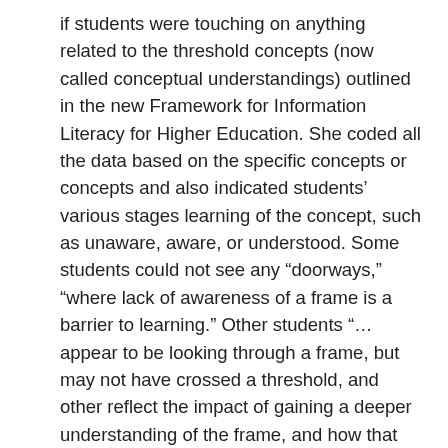if students were touching on anything related to the threshold concepts (now called conceptual understandings) outlined in the new Framework for Information Literacy for Higher Education. She coded all the data based on the specific concepts or concepts and also indicated students' various stages learning of the concept, such as unaware, aware, or understood. Some students could not see any “doorways,” “where lack of awareness of a frame is a barrier to learning.” Other students “… appear to be looking through a frame, but may not have crossed a threshold, and other reflect the impact of gaining a deeper understanding of the frame, and how that changed the participant’s view of research, information, or learning.” Understanding where students may be struggling based on their perspective can help inform the language we use in instruction, and in the development of activities and